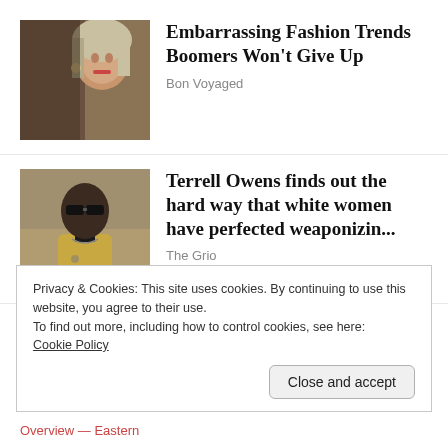[Figure (photo): Photo of a woman with blonde highlighted hair and makeup]
Embarrassing Fashion Trends Boomers Won't Give Up
Bon Voyaged
[Figure (photo): Photo of Terrell Owens wearing sunglasses and a gold jacket]
Terrell Owens finds out the hard way that white women have perfected weaponizin...
The Grio
Privacy & Cookies: This site uses cookies. By continuing to use this website, you agree to their use.
To find out more, including how to control cookies, see here:
Cookie Policy
Close and accept
Overview — Eastern